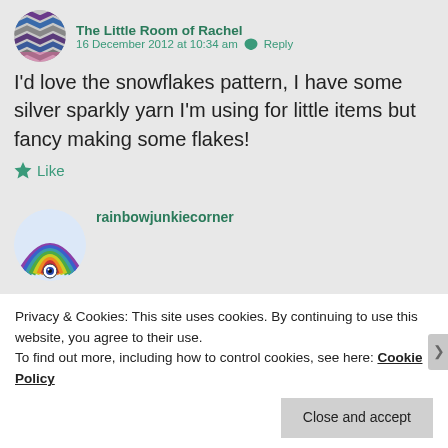[Figure (photo): Circular avatar showing a crocheted or knitted item in colorful zigzag pattern]
The Little Room of Rachel
16 December 2012 at 10:34 am  Reply
I'd love the snowflakes pattern, I have some silver sparkly yarn I'm using for little items but fancy making some flakes!
Like
[Figure (illustration): Circular avatar with rainbow arc illustration]
rainbowjunkiecorner
Privacy & Cookies: This site uses cookies. By continuing to use this website, you agree to their use.
To find out more, including how to control cookies, see here: Cookie Policy
Close and accept